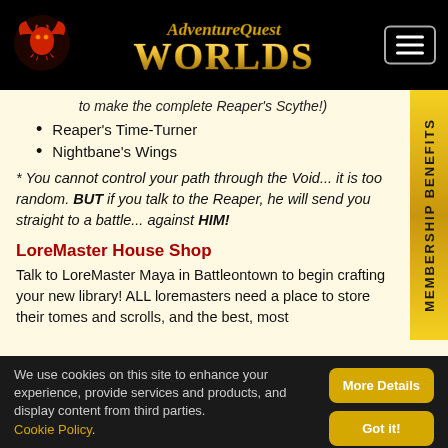AdventureQuest WORLDS
to make the complete Reaper's Scythe!)
Reaper's Time-Turner
Nightbane's Wings
* You cannot control your path through the Void... it is too random. BUT if you talk to the Reaper, he will send you straight to a battle... against HIM!
LoreMaster House Shop
Talk to LoreMaster Maya in Battleontown to begin crafting your new library! ALL loremasters need a place to store their tomes and scrolls, and the best, most
We use cookies on this site to enhance your experience, provide services and products, and display content from third parties. Cookie Policy.